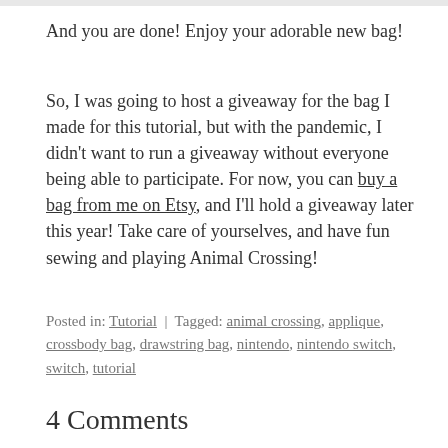And you are done! Enjoy your adorable new bag!
So, I was going to host a giveaway for the bag I made for this tutorial, but with the pandemic, I didn't want to run a giveaway without everyone being able to participate. For now, you can buy a bag from me on Etsy, and I'll hold a giveaway later this year! Take care of yourselves, and have fun sewing and playing Animal Crossing!
Posted in: Tutorial | Tagged: animal crossing, applique, crossbody bag, drawstring bag, nintendo, nintendo switch, switch, tutorial
4 Comments